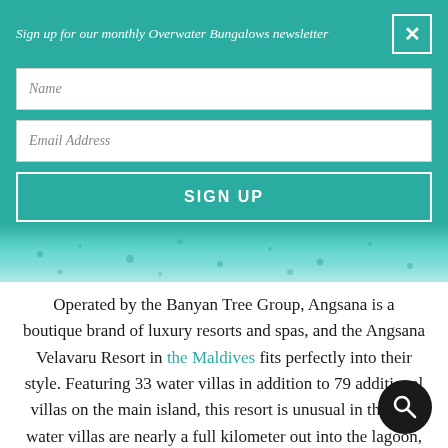Sign up for our monthly Overwater Bungalows newsletter
Name
Email Address
SIGN UP
[Figure (photo): Turquoise ocean water stripe visible beneath the teal banner]
Operated by the Banyan Tree Group, Angsana is a boutique brand of luxury resorts and spas, and the Angsana Velavaru Resort in the Maldives fits perfectly into their style. Featuring 33 water villas in addition to 79 additional villas on the main island, this resort is unusual in that the water villas are nearly a full kilometer out into the lagoon, connected only by a ferry that frequently goes back and forth.